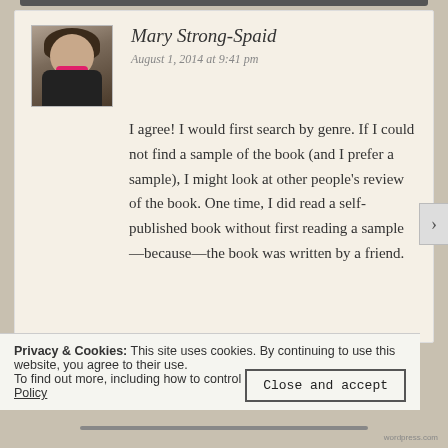[Figure (photo): Profile photo of Mary Strong-Spaid: woman with dark hair, black jacket, pink collar]
Mary Strong-Spaid
August 1, 2014 at 9:41 pm
I agree! I would first search by genre. If I could not find a sample of the book (and I prefer a sample), I might look at other people's review of the book. One time, I did read a self-published book without first reading a sample—because—the book was written by a friend.
Privacy & Cookies: This site uses cookies. By continuing to use this website, you agree to their use.
To find out more, including how to control cookies, see here: Cookie Policy
Close and accept